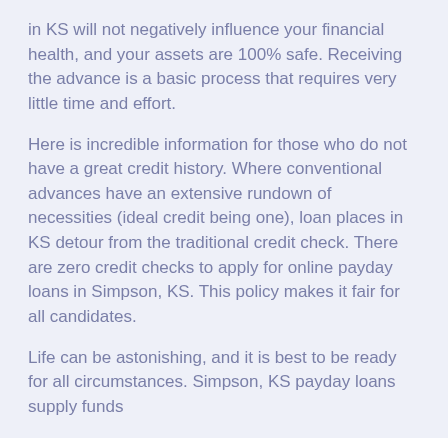in KS will not negatively influence your financial health, and your assets are 100% safe. Receiving the advance is a basic process that requires very little time and effort.
Here is incredible information for those who do not have a great credit history. Where conventional advances have an extensive rundown of necessities (ideal credit being one), loan places in KS detour from the traditional credit check. There are zero credit checks to apply for online payday loans in Simpson, KS. This policy makes it fair for all candidates.
Life can be astonishing, and it is best to be ready for all circumstances. Simpson, KS payday loans supply funds
[Figure (other): Green 'Apply Now' button]
Applying does NOT affect your credit score!
No credit check to apply.